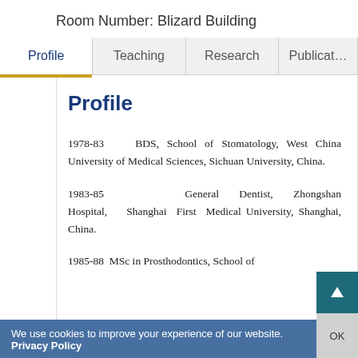Room Number: Blizard Building
Profile | Teaching | Research | Publicat…
Profile
1978-83   BDS, School of Stomatology, West China University of Medical Sciences, Sichuan University, China.
1983-85   General Dentist, Zhongshan Hospital, Shanghai First Medical University, Shanghai, China.
1985-88  MSc in Prosthodontics, School of
We use cookies to improve your experience of our website. Privacy Policy